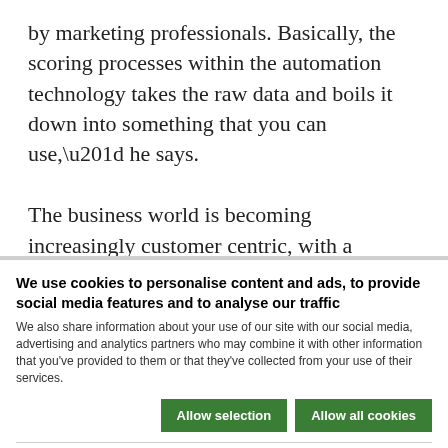by marketing professionals. Basically, the scoring processes within the automation technology takes the raw data and boils it down into something that you can use,” he says.

The business world is becoming increasingly customer centric, with a growing demand for companies to treat the customer life cycle of engagement as a continuing, seamless process
We use cookies to personalise content and ads, to provide social media features and to analyse our traffic
We also share information about your use of our site with our social media, advertising and analytics partners who may combine it with other information that you’ve provided to them or that they’ve collected from your use of their services.
Allow selection | Allow all cookies
Necessary | Preferences | Statistics | Marketing | Show details